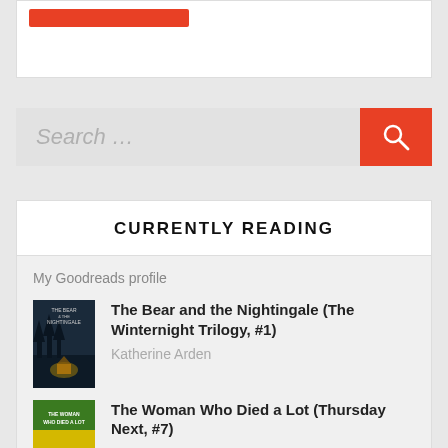[Figure (screenshot): Red button/bar UI element at top of card]
[Figure (screenshot): Search bar with placeholder text 'Search ...' and red search button with magnifying glass icon]
CURRENTLY READING
My Goodreads profile
[Figure (photo): Book cover of The Bear and the Nightingale - dark blue/night scene with a small lit cabin]
The Bear and the Nightingale (The Winternight Trilogy, #1)
Katherine Arden
[Figure (photo): Book cover of The Woman Who Died a Lot - yellow/green cover]
The Woman Who Died a Lot (Thursday Next, #7)